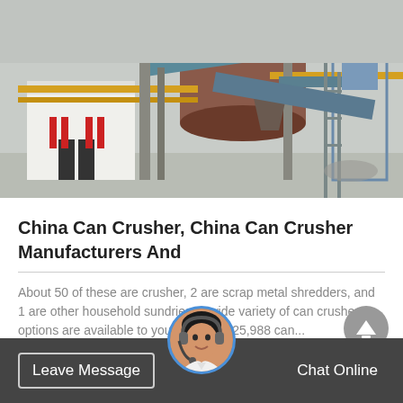[Figure (photo): An industrial factory scene with large cylindrical machinery, pipes, conveyor structures, a white building with red doors, and a tower structure against a grey sky.]
China Can Crusher, China Can Crusher Manufacturers And
About 50 of these are crusher, 2 are scrap metal shredders, and 1 are other household sundries. a wide variety of can crusher options are available to you, there are 25,988 can...